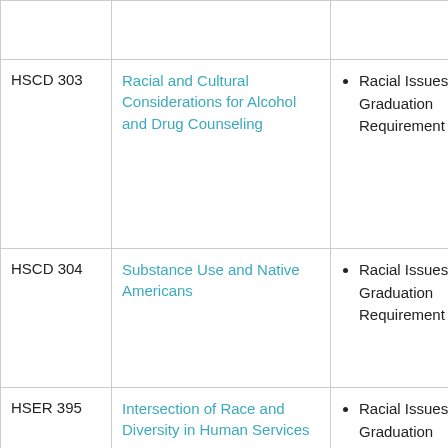| Course Code | Course Name | Requirement |
| --- | --- | --- |
|  |  |  |
| HSCD 303 | Racial and Cultural Considerations for Alcohol and Drug Counseling | Racial Issues Graduation Requirement |
| HSCD 304 | Substance Use and Native Americans | Racial Issues Graduation Requirement |
| HSER 395 | Intersection of Race and Diversity in Human Services | Racial Issues Graduation Requirement |